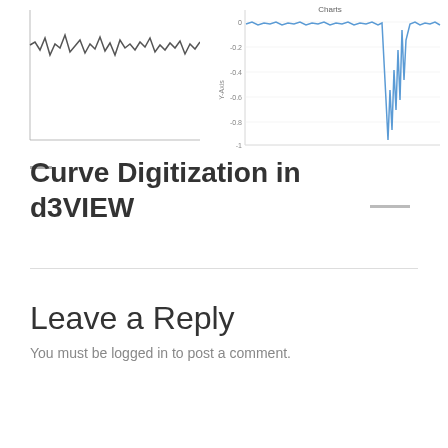[Figure (continuous-plot): Partial view of a line chart showing noisy waveform data, left portion cropped. Y-axis shows no visible labels at this crop. Chart appears to be a time-series signal plot.]
[Figure (continuous-plot): Partial view of a line chart on the right. Y-axis labeled 'Y-Axis' with values from 0 to -1 (0, -0.2, -0.4, -0.6, -0.8, -1). A blue jagged/noisy signal with a sharp dip near the right edge. Title partially visible reads 'Charts'.]
Curve Digitization in d3VIEW
Leave a Reply
You must be logged in to post a comment.